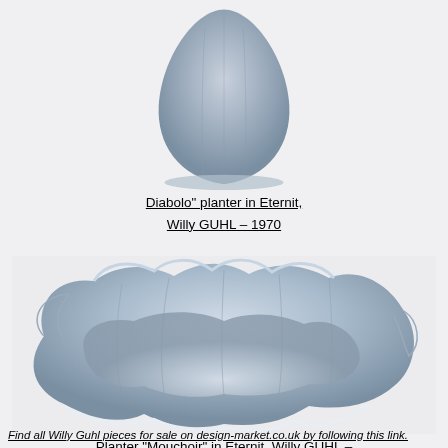[Figure (photo): Close-up of bottom portion of a Diabolo planter in Eternit, blue-gray concrete-like material, photographed against white/light background]
Diabolo" planter in Eternit, Willy GUHL – 1970
[Figure (photo): Planter Mouchoir in Eternit by Willy GUHL, 1970 – a wavy, ruffled bowl-shaped planter in blue-gray Eternit (fiber cement) material, resembling a handkerchief or clam shell shape]
Planter "Mouchoir" in Eternit, Willy GUHL – 1970
Find all Willy Guhl pieces for sale on design-market.co.uk by following this link.